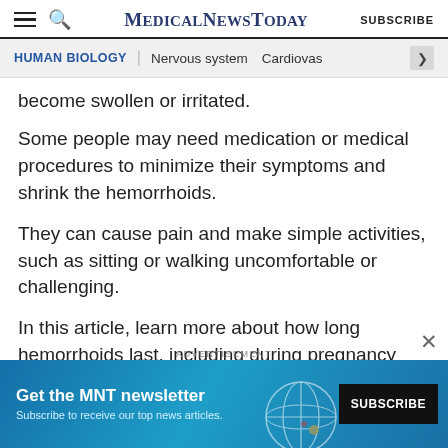MEDICALNEWSTODAY | SUBSCRIBE
HUMAN BIOLOGY | Nervous system  Cardiovas >
become swollen or irritated.
Some people may need medication or medical procedures to minimize their symptoms and shrink the hemorrhoids.
They can cause pain and make simple activities, such as sitting or walking uncomfortable or challenging.
In this article, learn more about how long hemorrhoids last, including during pregnancy and after birth, and how to get relief through treatments and home
ADVERTISEMENT
[Figure (infographic): MNT newsletter advertisement banner with dark blue/teal gradient background, text 'Get the MNT newsletter', subtitle 'Subscribe to receive our top news articles.', and a SUBSCRIBE button]